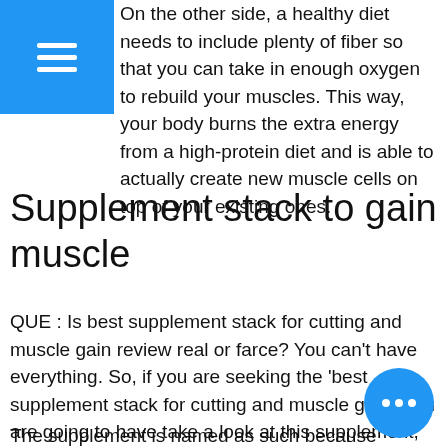Menu icon (hamburger)
On the other side, a healthy diet needs to include plenty of fiber so that you can take in enough oxygen to rebuild your muscles. This way, your body burns the extra energy from a high-protein diet and is able to actually create new muscle cells on top of your existing ones.
Supplement stack to gain muscle
QUE : Is best supplement stack for cutting and muscle gain review real or farce? You can't have everything. So, if you are seeking the 'best supplement stack for cutting and muscle gain,' you are going to have take a look at this supplement, best muscle building stacks 2020.
The supplement is named as such because